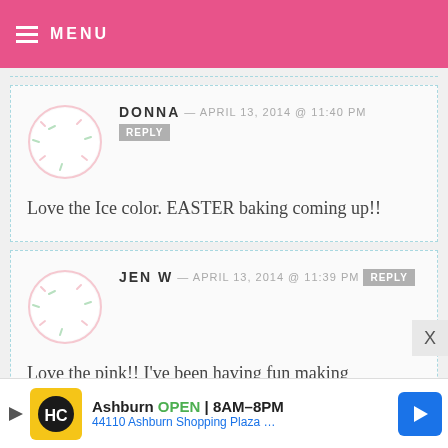MENU
DONNA — APRIL 13, 2014 @ 11:40 PM
Love the Ice color. EASTER baking coming up!!
JEN W — APRIL 13, 2014 @ 11:39 PM
Love the pink!! I've been having fun making decorated sugar cookies lately and am planning more.